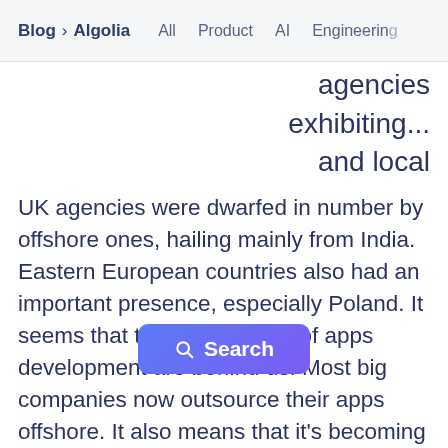Blog > Algolia   All  Product  AI  Engineering
agencies exhibiting... and local
UK agencies were dwarfed in number by offshore ones, hailing mainly from India. Eastern European countries also had an important presence, especially Poland. It seems that the golden days of apps development are behind us. Most big companies now outsource their apps offshore. It also means that it's becoming very important for local agencies to differentiate themselves. I actu...ny of them about Algolia Search and differences in reactions were